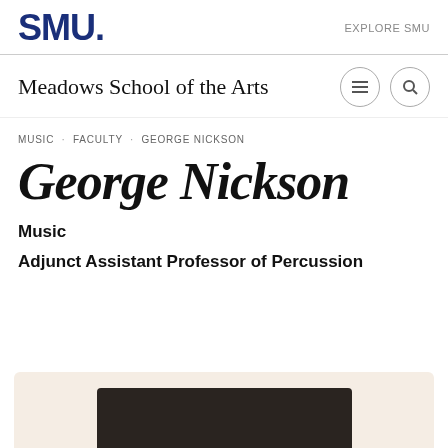SMU. EXPLORE SMU
Meadows School of the Arts
MUSIC · FACULTY · GEORGE NICKSON
George Nickson
Music
Adjunct Assistant Professor of Percussion
[Figure (photo): Profile photo area with beige background and dark photograph of George Nickson]